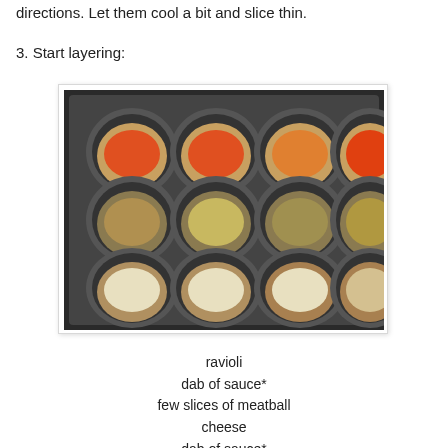directions. Let them cool a bit and slice thin.
3. Start layering:
[Figure (photo): A muffin tin with 12 cups, each containing layered ravioli, sauce, meatball slices, and cheese at various stages of layering.]
ravioli
dab of sauce*
few slices of meatball
cheese
dab of sauce*
ravioli
dab of sauce*